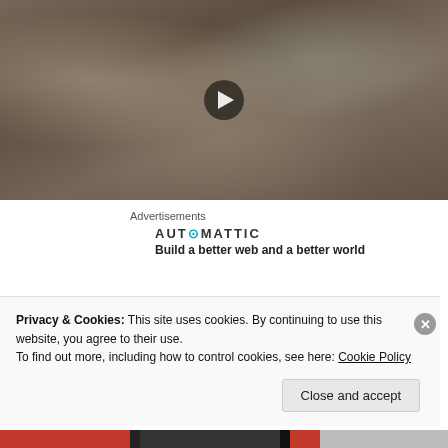[Figure (photo): Video thumbnail showing a crowd of people on a busy street, with a play button overlay in the center]
Advertisements
AUTOMATTIC
Build a better web and a better world
After Semana Santa I headed back to Bogota where I
Privacy & Cookies: This site uses cookies. By continuing to use this website, you agree to their use.
To find out more, including how to control cookies, see here: Cookie Policy
Close and accept